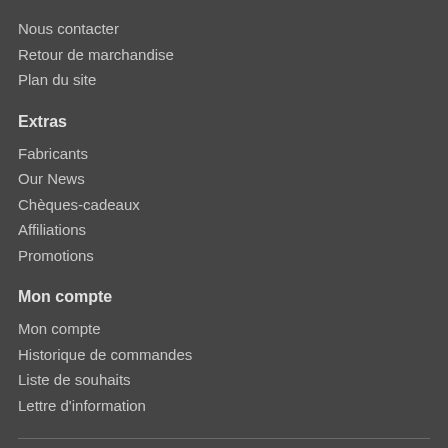Nous contacter
Retour de marchandise
Plan du site
Extras
Fabricants
Our News
Chèques-cadeaux
Affiliations
Promotions
Mon compte
Mon compte
Historique de commandes
Liste de souhaits
Lettre d'information